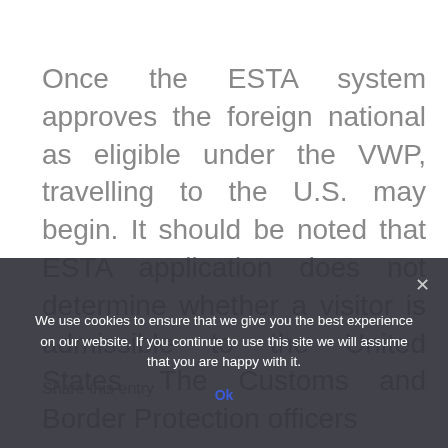Once the ESTA system approves the foreign national as eligible under the VWP, travelling to the U.S. may begin. It should be noted that ESTA application does not determine whether a visitor is admissible to the United States. The Customs and Border Protection officers
Share this entry
We use cookies to ensure that we give you the best experience on our website. If you continue to use this site we will assume that you are happy with it.
Ok